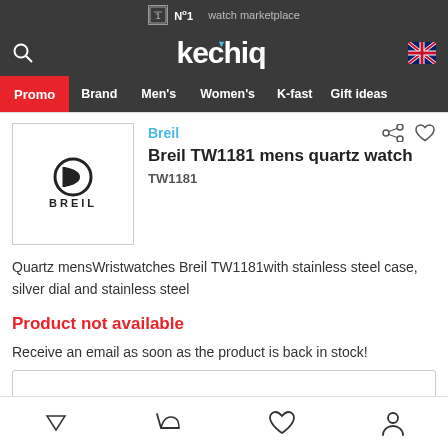№1 watch marketplace
kechiq
Promo  Brand  Men's  Women's  K-fast  Gift ideas
[Figure (logo): Breil brand logo with stylized B and BREIL text]
Breil
Breil TW1181 mens quartz watch
TW1181
Quartz mensWristwatches Breil TW1181with stainless steel case, silver dial and stainless steel
Product not available
Receive an email as soon as the product is back in stock!
Navigation icons: filter, cart, wishlist, account